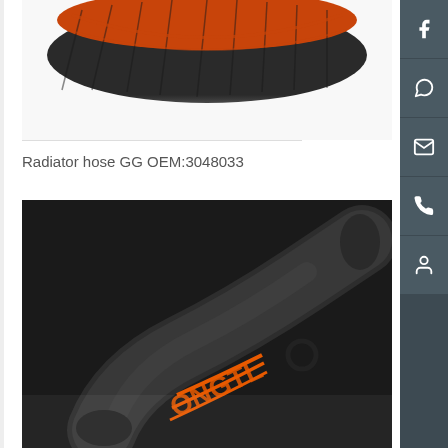[Figure (photo): Top portion of a radiator hose product photo showing orange and dark grey/black braided or mesh hose against white background]
Radiator hose GG OEM:3048033
[Figure (photo): Bottom radiator hose product photo showing a curved black rubber hose with orange elastic band and partial 'ONGTL' branding text visible on the hose, dark background]